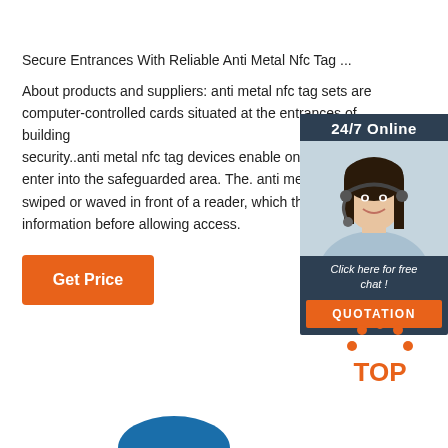Secure Entrances With Reliable Anti Metal Nfc Tag ...
About products and suppliers: anti metal nfc tag sets are computer-controlled cards situated at the entrances of buildings for security..anti metal nfc tag devices enable only auth enter into the safeguarded area. The. anti metal nfc swiped or waved in front of a reader, which then ver information before allowing access.
[Figure (illustration): Chat widget with 24/7 Online header, photo of a woman wearing a headset smiling, 'Click here for free chat!' text, and an orange QUOTATION button]
[Figure (logo): TOP logo with orange dots arranged in an arc above the word TOP in orange]
[Figure (illustration): Blue arc/partial circle at the bottom of the page]
Get Price